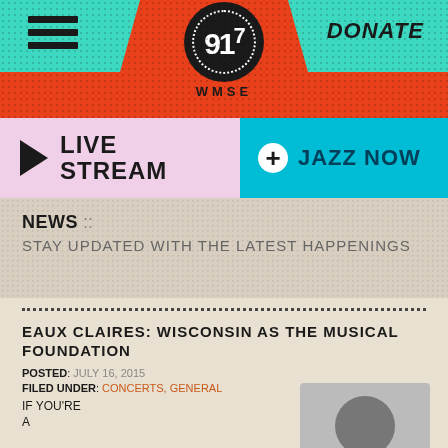91.7 WMSE
DONATE
LIVE STREAM
JAZZ NOW
NEWS :: STAY UPDATED WITH THE LATEST HAPPENINGS
EAUX CLAIRES: WISCONSIN AS THE MUSICAL FOUNDATION
POSTED: JULY 16, 2015
FILED UNDER: CONCERTS, GENERAL
IF YOU'RE
A